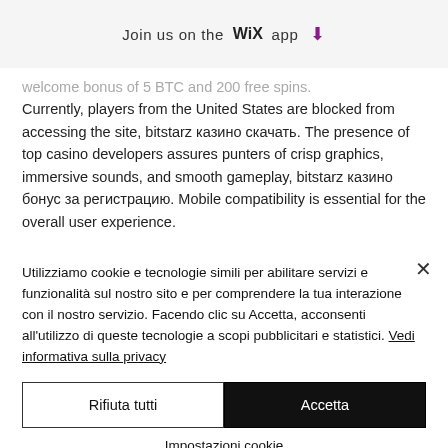Join us on the WiX app ↓
welcome bonus of 5 BTC and 200 free spins. Currently, players from the United States are blocked from accessing the site, bitstarz казино скачать. The presence of top casino developers assures punters of crisp graphics, immersive sounds, and smooth gameplay, bitstarz казино бонус за регистрацию. Mobile compatibility is essential for the overall user experience.
Utilizziamo cookie e tecnologie simili per abilitare servizi e funzionalità sul nostro sito e per comprendere la tua interazione con il nostro servizio. Facendo clic su Accetta, acconsenti all'utilizzo di queste tecnologie a scopi pubblicitari e statistici. Vedi informativa sulla privacy
Rifiuta tutti
Accetta
Impostazioni cookie